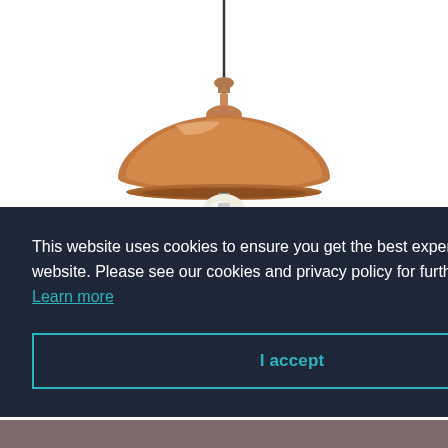[Figure (photo): A copper/antique brass finished pendant light fixture hanging from a black cord, with a dome-shaped shade and exposed Edison-style bulb at the bottom, on a white background.]
Dynamo 1 Light Pendant Antique
This website uses cookies to ensure you get the best experience of our website. Please see our cookies and privacy policy for further information. Learn more
I accept